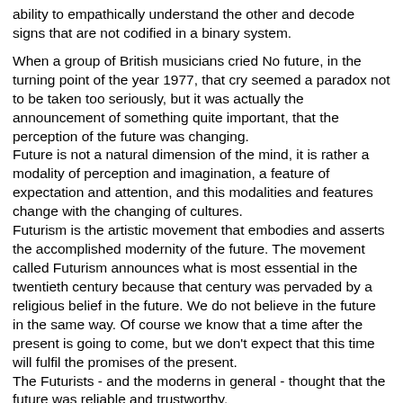ability to empathically understand the other and decode signs that are not codified in a binary system.
When a group of British musicians cried No future, in the turning point of the year 1977, that cry seemed a paradox not to be taken too seriously, but it was actually the announcement of something quite important, that the perception of the future was changing.
Future is not a natural dimension of the mind, it is rather a modality of perception and imagination, a feature of expectation and attention, and this modalities and features change with the changing of cultures.
Futurism is the artistic movement that embodies and asserts the accomplished modernity of the future. The movement called Futurism announces what is most essential in the twentieth century because that century was pervaded by a religious belief in the future. We do not believe in the future in the same way. Of course we know that a time after the present is going to come, but we don't expect that this time will fulfil the promises of the present.
The Futurists - and the moderns in general - thought that the future was reliable and trustworthy.
In the first part of the century Fascists, Communists and the supporters of Democracy had very different ideas and followed divergent methods, but all of them shared the belief that the future would be bright, no matter how hard the